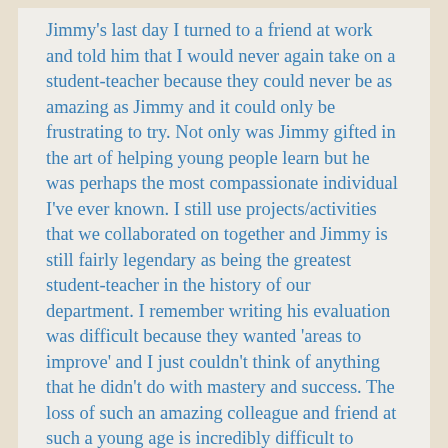Jimmy's last day I turned to a friend at work and told him that I would never again take on a student-teacher because they could never be as amazing as Jimmy and it could only be frustrating to try. Not only was Jimmy gifted in the art of helping young people learn but he was perhaps the most compassionate individual I've ever known. I still use projects/activities that we collaborated on together and Jimmy is still fairly legendary as being the greatest student-teacher in the history of our department. I remember writing his evaluation was difficult because they wanted 'areas to improve' and I just couldn't think of anything that he didn't do with mastery and success. The loss of such an amazing colleague and friend at such a young age is incredibly difficult to understand. My heart aches for his family, friends and all the people that filled the Lincoln Middle School Auditorium with love today. It